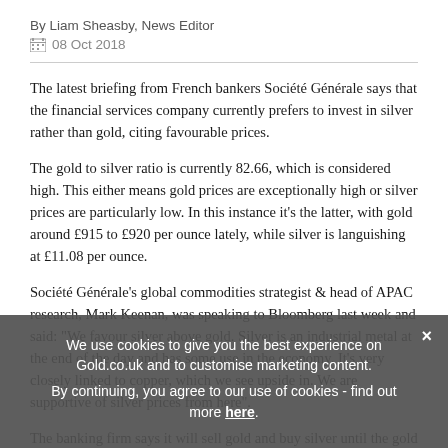By Liam Sheasby, News Editor
08 Oct 2018
The latest briefing from French bankers Société Générale says that the financial services company currently prefers to invest in silver rather than gold, citing favourable prices.
The gold to silver ratio is currently 82.66, which is considered high. This either means gold prices are exceptionally high or silver prices are particularly low. In this instance it's the latter, with gold around £915 to £920 per ounce lately, while silver is languishing at £11.08 per ounce.
Société Générale's global commodities strategist & head of APAC research, Mark Keenan, was speaking to Bloomberg last week and said: "We favour silver above gold. Silver is an industrial metal at the end of the day and has some use in the economy. It's very closely linked to copper, which we see upside in. We are supportive of silver prices from here".
The banking firm says it will sell gold and buy silver until the gold to silver ratio hits 71. Given the current renewed interest in gold, it's
We use cookies to give you the best experience on Gold.co.uk and to customise marketing content.
By continuing, you agree to our use of cookies - find out more here.